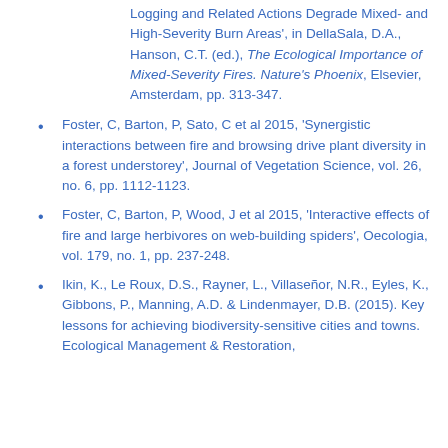Logging and Related Actions Degrade Mixed- and High-Severity Burn Areas', in DellaSala, D.A., Hanson, C.T. (ed.), The Ecological Importance of Mixed-Severity Fires. Nature's Phoenix, Elsevier, Amsterdam, pp. 313-347.
Foster, C, Barton, P, Sato, C et al 2015, 'Synergistic interactions between fire and browsing drive plant diversity in a forest understorey', Journal of Vegetation Science, vol. 26, no. 6, pp. 1112-1123.
Foster, C, Barton, P, Wood, J et al 2015, 'Interactive effects of fire and large herbivores on web-building spiders', Oecologia, vol. 179, no. 1, pp. 237-248.
Ikin, K., Le Roux, D.S., Rayner, L., Villaseñor, N.R., Eyles, K., Gibbons, P., Manning, A.D. & Lindenmayer, D.B. (2015). Key lessons for achieving biodiversity-sensitive cities and towns. Ecological Management & Restoration,